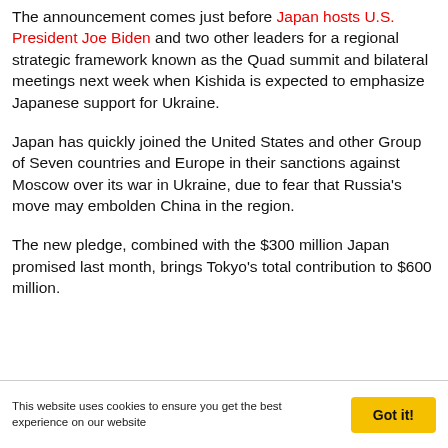The announcement comes just before Japan hosts U.S. President Joe Biden and two other leaders for a regional strategic framework known as the Quad summit and bilateral meetings next week when Kishida is expected to emphasize Japanese support for Ukraine.
Japan has quickly joined the United States and other Group of Seven countries and Europe in their sanctions against Moscow over its war in Ukraine, due to fear that Russia's move may embolden China in the region.
The new pledge, combined with the $300 million Japan promised last month, brings Tokyo's total contribution to $600 million.
This website uses cookies to ensure you get the best experience on our website